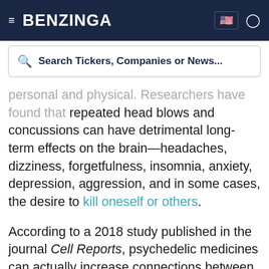BENZINGA
Search Tickers, Companies or News...
personal and physical. Researchers have found that repeated head blows and concussions can have detrimental long-term effects on the brain—headaches, dizziness, forgetfulness, insomnia, anxiety, depression, aggression, and in some cases, the desire to kill oneself or others.
According to a 2018 study published in the journal Cell Reports, psychedelic medicines can actually increase connections between neurons and essentially rewire the brain. These structural changes suggest that psychedelic drugs may hold the secret to repairing circuits in the brain that cause mood and anxiety